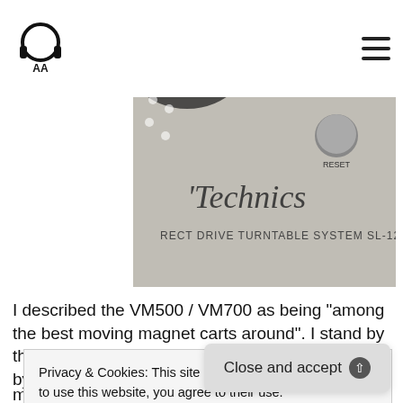AA logo and hamburger menu
[Figure (photo): Close-up photo of a Technics SL-1200G direct drive turntable system with a stylus/cartridge visible on the platter]
I described the VM500 / VM700 as being "among the best moving magnet carts around". I stand by that statement as they are exceptional cartridges by any standard, though I
Privacy & Cookies: This site uses cookies. By continuing to use this website, you agree to their use.
To find out more, including how to control cookies, see here:
Cookie Policy
Close and accept
magnet cartridge hierarchy with the Shibata upgrade giving